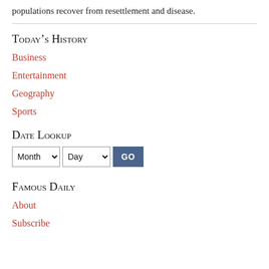populations recover from resettlement and disease.
Today's History
Business
Entertainment
Geography
Sports
Date Lookup
Famous Daily
About
Subscribe